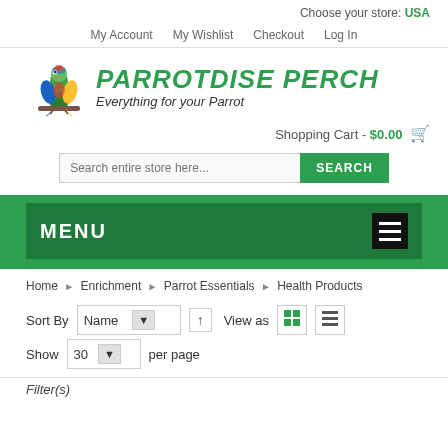Choose your store: USA
My Account   My Wishlist   Checkout   Log In
[Figure (logo): Parrot illustration logo with colorful parrot on branch]
PARROTDISE PERCH Everything for your Parrot
Shopping Cart - $0.00
Search entire store here... SEARCH
MENU
Home > Enrichment > Parrot Essentials > Health Products
Sort By Name ↑ View as  Show 30 per page